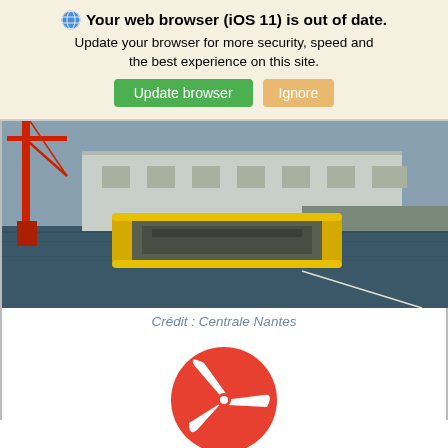🌐 Your web browser (iOS 11) is out of date. Update your browser for more security, speed and the best experience on this site. [Update browser] [Ignore]
[Figure (photo): Aerial/elevated view of a large yellow and grey floating offshore platform structure moored in a harbor, with industrial warehouse buildings in the background and a red crane on the left side.]
Crédit : Centrale Nantes
[Figure (logo): Circular red logo with white wind turbine / tidal turbine blades icon in the center]